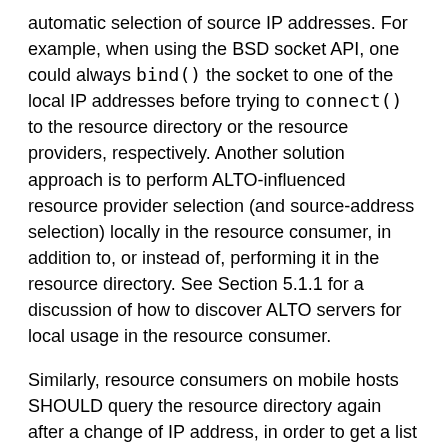automatic selection of source IP addresses. For example, when using the BSD socket API, one could always bind() the socket to one of the local IP addresses before trying to connect() to the resource directory or the resource providers, respectively. Another solution approach is to perform ALTO-influenced resource provider selection (and source-address selection) locally in the resource consumer, in addition to, or instead of, performing it in the resource directory. See Section 5.1.1 for a discussion of how to discover ALTO servers for local usage in the resource consumer.
Similarly, resource consumers on mobile hosts SHOULD query the resource directory again after a change of IP address, in order to get a list of candidate resource providers that is optimized for the new IP address.
5.1.3. Interaction with Network Address Translation
The ALTO Cross-Domain Server Discovery Procedure has been designed to enable the ALTO-based optimization of applications such as large- scale overlay networks, that